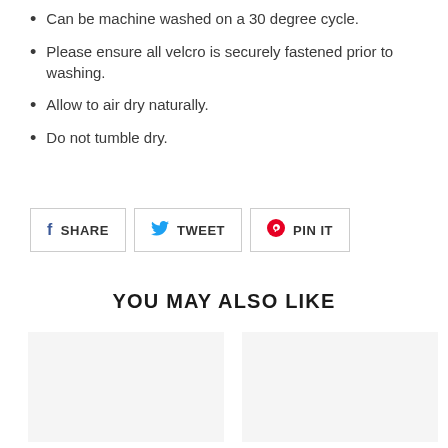Can be machine washed on a 30 degree cycle.
Please ensure all velcro is securely fastened prior to washing.
Allow to air dry naturally.
Do not tumble dry.
[Figure (other): Social share buttons: Facebook SHARE, Twitter TWEET, Pinterest PIN IT]
YOU MAY ALSO LIKE
[Figure (other): Two product image placeholder cards side by side]